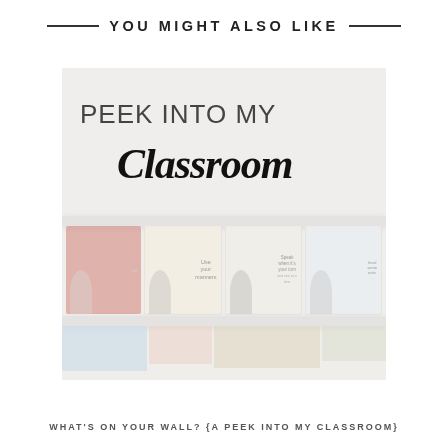YOU MIGHT ALSO LIKE
[Figure (photo): A classroom photo showing wall shelves with behavior/manners poster cards featuring illustrated characters, and books on a lower shelf. Text overlay reads 'PEEK INTO MY Classroom' in mixed serif and script styling.]
WHAT'S ON YOUR WALL? {A PEEK INTO MY CLASSROOM}